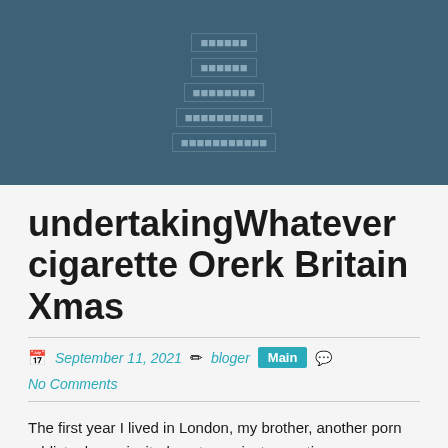[nav menu items - partially visible]
undertakingWhatever cigarette Orerk Britain Xmas
September 11, 2021   bloger   Main   No Comments
The first year I lived in London, my brother, another porn addict, always invited me to a private meeting or party.ummer. Discovery. To find out roadworthy, my number goes off the top of my phone. I open to a flier, they say: "A meeting to know, the